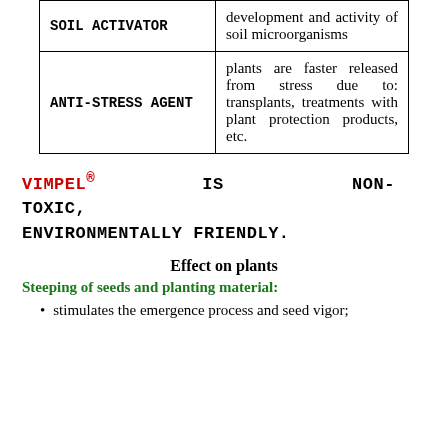| Role | Description |
| --- | --- |
| SOIL ACTIVATOR | development and activity of soil microorganisms |
| ANTI-STRESS AGENT | plants are faster released from stress due to: transplants, treatments with plant protection products, etc. |
VIMPEL® IS NON-TOXIC, ENVIRONMENTALLY FRIENDLY.
Effect on plants
Steeping of seeds and planting material:
stimulates the emergence process and seed vigor;